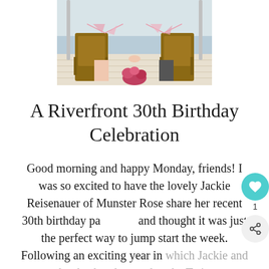[Figure (photo): Wedding or celebration photo showing two people holding hands between wooden deck chairs with pink bunting/flags and a floral bouquet on a white wooden deck]
A Riverfront 30th Birthday Celebration
Good morning and happy Monday, friends! I was so excited to have the lovely Jackie Reisenauer of Munster Rose share her recent 30th birthday pa and thought it was just the perfect way to jump start the week. Following an exciting year in which Jackie and her husband moved to the Twin